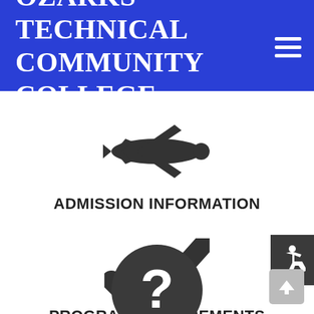Ozarks Technical Community College
[Figure (illustration): Airplane icon (silhouette, dark gray) representing Admission Information]
ADMISSION INFORMATION
[Figure (illustration): Checkmark icon (dark gray) representing Program Requirements]
PROGRAM REQUIREMENTS
[Figure (illustration): Dark circle with white question mark icon, partially visible at bottom of page]